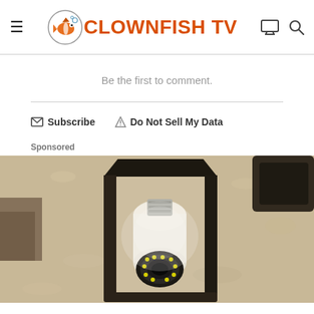CLOWNFISH TV
Be the first to comment.
Subscribe   Do Not Sell My Data
Sponsored
[Figure (photo): An outdoor wall lantern with a white light bulb/security camera device installed inside the black metal lantern fixture, mounted on a textured stucco wall.]